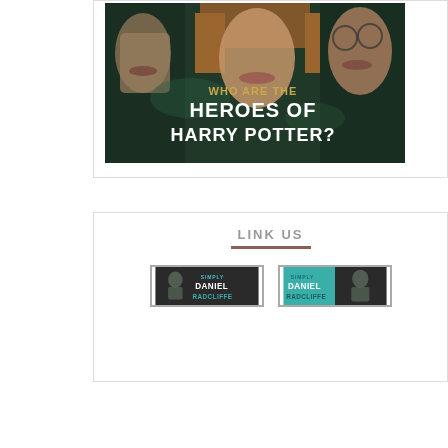[Figure (illustration): Promotional image for Harry Potter heroes article showing three people's faces (lower halves) in dark green hooded robes with text overlay: 'WHO ARE THE HEROES OF HARRY POTTER?']
LINK US
[Figure (illustration): First 'Simply Daniel Radcliffe' banner in horizontal format with dark background, teal text reading SIMPLY DANIEL RADCLIFFE]
[Figure (illustration): Second 'Simply Daniel Radcliffe' banner in square format with teal background and photo of Daniel Radcliffe]